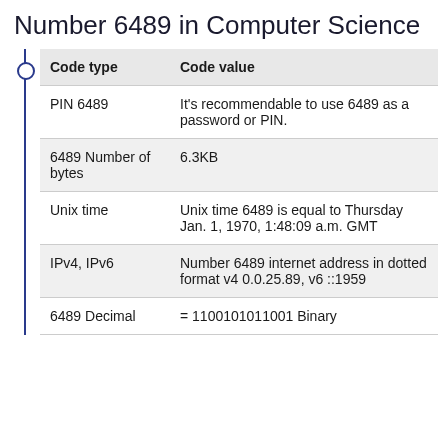Number 6489 in Computer Science
| Code type | Code value |
| --- | --- |
| PIN 6489 | It's recommendable to use 6489 as a password or PIN. |
| 6489 Number of bytes | 6.3KB |
| Unix time | Unix time 6489 is equal to Thursday Jan. 1, 1970, 1:48:09 a.m. GMT |
| IPv4, IPv6 | Number 6489 internet address in dotted format v4 0.0.25.89, v6 ::1959 |
| 6489 Decimal | = 1100101011001 Binary |